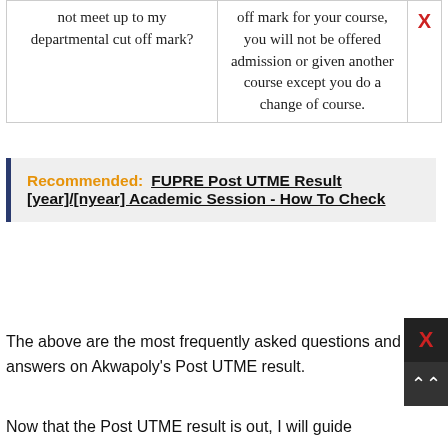|  |  |  |
| --- | --- | --- |
| not meet up to my departmental cut off mark? | off mark for your course, you will not be offered admission or given another course except you do a change of course. | X |
Recommended: FUPRE Post UTME Result [year]/[nyear] Academic Session - How To Check
The above are the most frequently asked questions and answers on Akwapoly's Post UTME result.
Now that the Post UTME result is out, I will guide